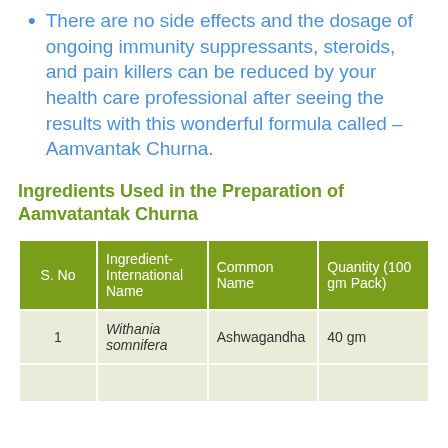There are no side effects and the dosage of ongoing immunity suppressants, steroids, and pain killers can be reduced by your health care professional after seeing the results with this wonderful formula called – Aamvantak Churna.
Ingredients Used in the Preparation of Aamvatantak Churna
| S. No | Ingredient-International Name | Common Name | Quantity (100 gm Pack) |
| --- | --- | --- | --- |
| 1 | Withania somnifera | Ashwagandha | 40 gm |
| 2 | ... | ... | ... |